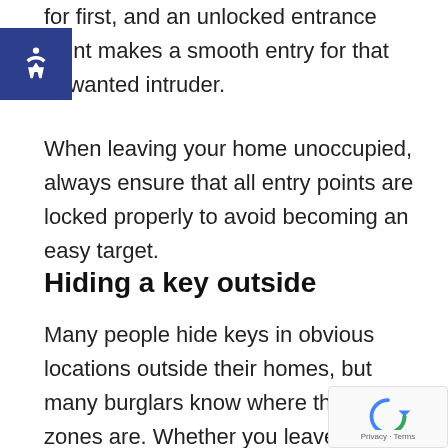for first, and an unlocked entrance point makes a smooth entry for that unwanted intruder.
[Figure (other): Blue accessibility icon badge on left side]
When leaving your home unoccupied, always ensure that all entry points are locked properly to avoid becoming an easy target.
Hiding a key outside
Many people hide keys in obvious locations outside their homes, but many burglars know where these zones are. Whether you leave it under your front doormat, in a plant pot or basket, leaving a key out for anybody to find is a serious risk.
[Figure (logo): Google reCAPTCHA badge with Privacy and Terms links]